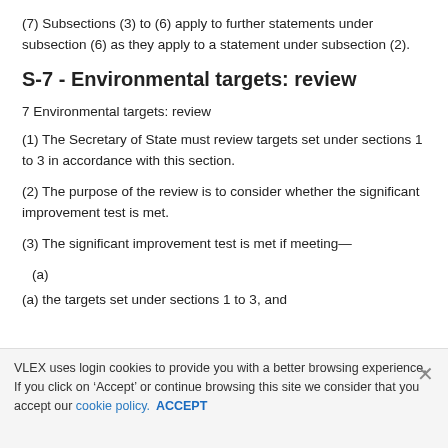(7) Subsections (3) to (6) apply to further statements under subsection (6) as they apply to a statement under subsection (2).
S-7 - Environmental targets: review
7 Environmental targets: review
(1) The Secretary of State must review targets set under sections 1 to 3 in accordance with this section.
(2) The purpose of the review is to consider whether the significant improvement test is met.
(3) The significant improvement test is met if meeting—
(a)
(a) the targets set under sections 1 to 3, and
VLEX uses login cookies to provide you with a better browsing experience. If you click on ‘Accept’ or continue browsing this site we consider that you accept our cookie policy. ACCEPT